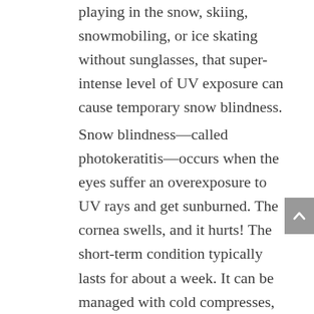playing in the snow, skiing, snowmobiling, or ice skating without sunglasses, that super-intense level of UV exposure can cause temporary snow blindness.
Snow blindness—called photokeratitis—occurs when the eyes suffer an overexposure to UV rays and get sunburned. The cornea swells, and it hurts! The short-term condition typically lasts for about a week. It can be managed with cold compresses, artificial tears, and over-the-counter pain medications such as non-steroidal anti-inflammatory drugs.